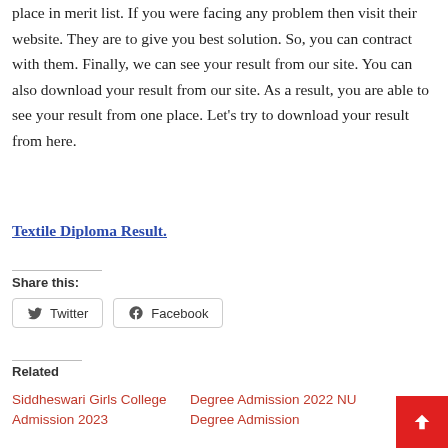place in merit list. If you were facing any problem then visit their website. They are to give you best solution. So, you can contract with them. Finally, we can see your result from our site. You can also download your result from our site. As a result, you are able to see your result from one place. Let's try to download your result from here.
Textile Diploma Result.
Share this:
Twitter   Facebook
Related
Siddheswari Girls College Admission 2023
Degree Admission 2022 NU Degree Admission